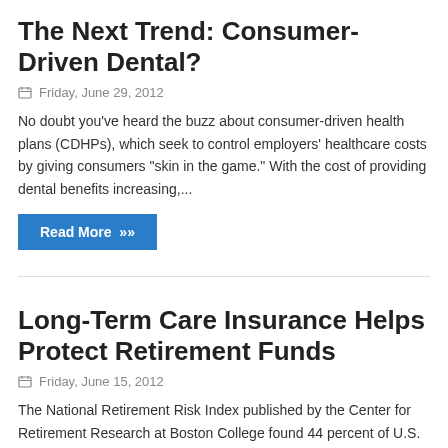The Next Trend: Consumer-Driven Dental?
Friday, June 29, 2012
No doubt you've heard the buzz about consumer-driven health plans (CDHPs), which seek to control employers' healthcare costs by giving consumers "skin in the game." With the cost of providing dental benefits increasing,...
Read More »
Long-Term Care Insurance Helps Protect Retirement Funds
Friday, June 15, 2012
The National Retirement Risk Index published by the Center for Retirement Research at Boston College found 44 percent of U.S. households were "at risk" for financial insecurity during retirement.